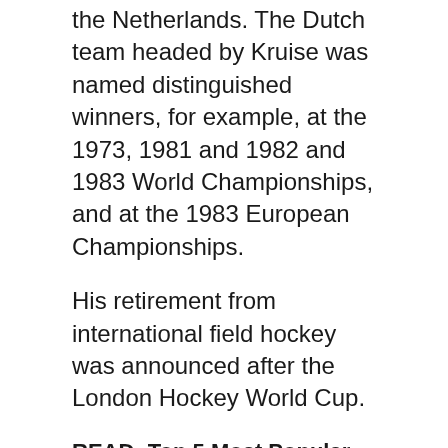the Netherlands. The Dutch team headed by Kruise was named distinguished winners, for example, at the 1973, 1981 and 1982 and 1983 World Championships, and at the 1983 European Championships.
His retirement from international field hockey was announced after the London Hockey World Cup.
READ: Top 5 Most Popular Sports in India
5. Teun de Nooijer